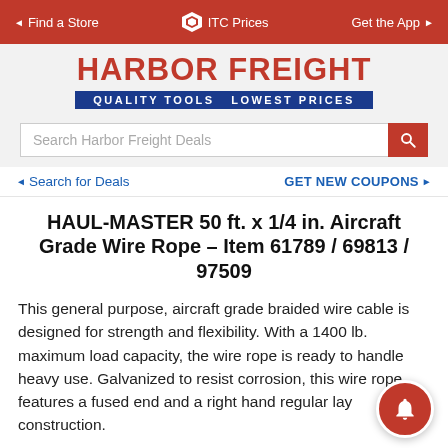◄ Find a Store   ◆ ITC Prices   Get the App ►
[Figure (logo): Harbor Freight Tools logo with red text 'HARBOR FREIGHT' and blue banner 'QUALITY TOOLS  LOWEST PRICES']
Search Harbor Freight Deals
◄ Search for Deals    GET NEW COUPONS ►
HAUL-MASTER 50 ft. x 1/4 in. Aircraft Grade Wire Rope – Item 61789 / 69813 / 97509
This general purpose, aircraft grade braided wire cable is designed for strength and flexibility. With a 1400 lb. maximum load capacity, the wire rope is ready to handle heavy use. Galvanized to resist corrosion, this wire rope features a fused end and a right hand regular lay construction.
Compare our price of $18.99 to EVERBILT at $23.28 (model number: 803142). Save 18% by shopping at Harbor Freight.